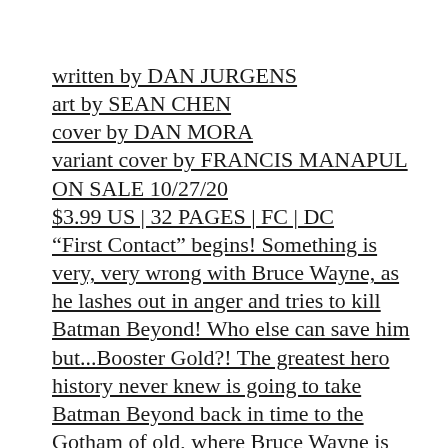written by DAN JURGENS
art by SEAN CHEN
cover by DAN MORA
variant cover by FRANCIS MANAPUL
ON SALE 10/27/20
$3.99 US | 32 PAGES | FC | DC
"First Contact" begins! Something is very, very wrong with Bruce Wayne, as he lashes out in anger and tries to kill Batman Beyond! Who else can save him but...Booster Gold?! The greatest hero history never knew is going to take Batman Beyond back in time to the Gotham of old, where Bruce Wayne is Batman—which means Batman and Batman Beyond will meet both...